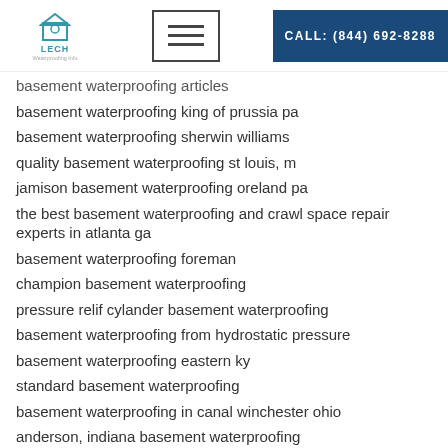LECH | CALL: (844) 692-8288
basement waterproofing articles
basement waterproofing king of prussia pa
basement waterproofing sherwin williams
quality basement waterproofing st louis, m
jamison basement waterproofing oreland pa
the best basement waterproofing and crawl space repair experts in atlanta ga
basement waterproofing foreman
champion basement waterproofing
pressure relif cylander basement waterproofing
basement waterproofing from hydrostatic pressure
basement waterproofing eastern ky
standard basement waterproofing
basement waterproofing in canal winchester ohio
anderson, indiana basement waterproofing